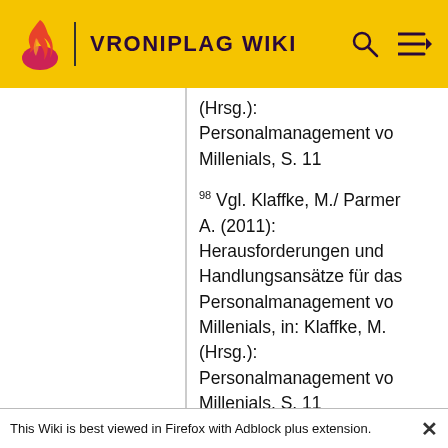VRONIPLAG WIKI
(Hrsg.): Personalmanagement von Millenials, S. 11
98 Vgl. Klaffke, M./ Parmer A. (2011): Herausforderungen und Handlungsansätze für das Personalmanagement von Millenials, in: Klaffke, M. (Hrsg.): Personalmanagement von Millenials, S. 11
This Wiki is best viewed in Firefox with Adblock plus extension.